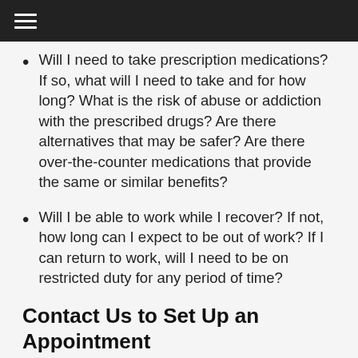Will I need to take prescription medications? If so, what will I need to take and for how long? What is the risk of abuse or addiction with the prescribed drugs? Are there alternatives that may be safer? Are there over-the-counter medications that provide the same or similar benefits?
Will I be able to work while I recover? If not, how long can I expect to be out of work? If I can return to work, will I need to be on restricted duty for any period of time?
Contact Us to Set Up an Appointment
At Advantage Healthcare Systems, we have extensive experience working successfully with individuals who suffer any type of injury in a motor vehicle accident.